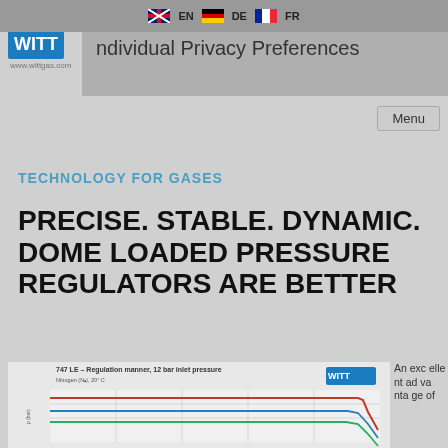EN | DE | FR — Individual Privacy Preferences
[Figure (logo): WITT logo with www.wittgas.com url]
Menu
TECHNOLOGY FOR GASES
PRECISE. STABLE. DYNAMIC. DOME LOADED PRESSURE REGULATORS ARE BETTER
[Figure (line-chart): Line chart showing regulation manner at 12 bar inlet pressure for Nitrogen (N2), 20°C. Three lines: red (high), blue (mid), green (low), all flat then dropping at high flow.]
An excellent advantage of